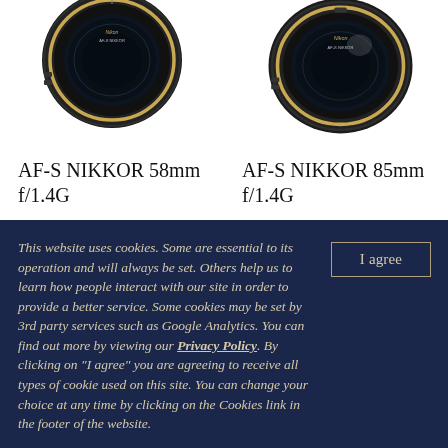[Figure (photo): Nikon AF-S NIKKOR 58mm f/1.4G lens, front view, black with gold ring]
[Figure (photo): Nikon AF-S NIKKOR 85mm f/1.4G lens, front view, black with gold ring]
AF-S NIKKOR 58mm f/1.4G
AF-S NIKKOR 85mm f/1.4G
This website uses cookies. Some are essential to its operation and will always be set. Others help us to learn how people interact with our site in order to provide a better service. Some cookies may be set by 3rd party services such as Google Analytics. You can find out more by viewing our Privacy Policy. By clicking on "I agree" you are agreeing to receive all types of cookie used on this site. You can change your choice at any time by clicking on the Cookies link in the footer of the website.